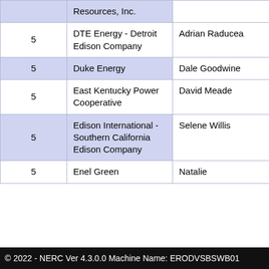|  | Resources, Inc. |  |  |
| --- | --- | --- | --- |
| 5 | DTE Energy - Detroit Edison Company | Adrian Raducea |  |
| 5 | Duke Energy | Dale Goodwine |  |
| 5 | East Kentucky Power Cooperative | David Meade |  |
| 5 | Edison International - Southern California Edison Company | Selene Willis |  |
| 5 | Enel Green | Natalie |  |
© 2022 - NERC Ver 4.3.0.0 Machine Name: ERODVSBSWB01